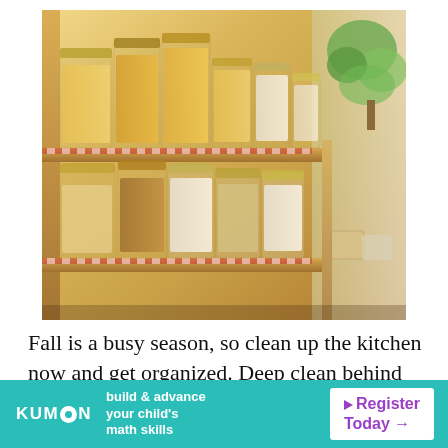[Figure (photo): Organized kitchen pantry shelves filled with glass jars containing various dry goods such as pasta, grains, flour, and cereals. Wooden shelves with warm natural lighting and a green plant visible on the right side.]
Fall is a busy season, so clean up the kitchen now and get organized. Deep clean behind your appliances and clean the inside of the
[Figure (infographic): Kumon advertisement banner. Teal/turquoise background. Left side: Kumon logo (white text with circle O) and text 'build & advance your child's math skills'. Right side: white box with purple text 'Register Today →' and a purple play triangle icon.]